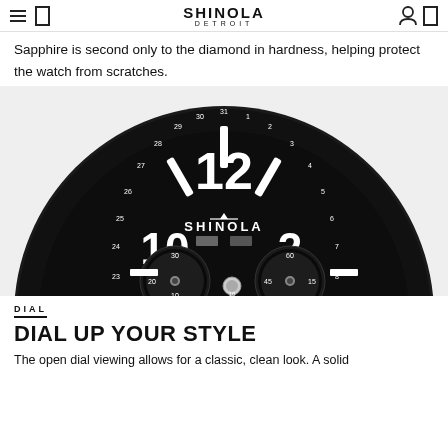SHINOLA DETROIT
Sapphire is second only to the diamond in hardness, helping protect the watch from scratches.
[Figure (photo): Close-up photograph of a Shinola watch dial — black chronograph face with large white numerals (12, 10, 2), SHINOLA brand name, date bezel ring with numbers 23–31 and 1–8 visible, and two sub-dials showing 30/20/10 and 60/45/15/30 markings.]
DIAL
DIAL UP YOUR STYLE
The open dial viewing allows for a classic, clean look. A solid